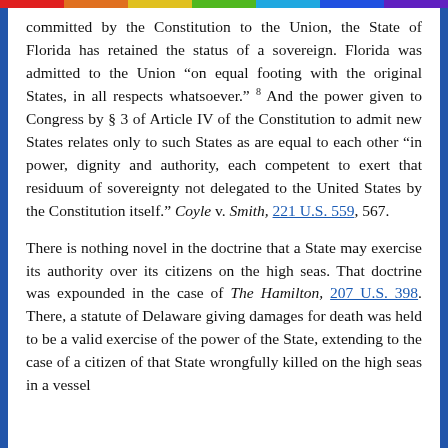committed by the Constitution to the Union, the State of Florida has retained the status of a sovereign. Florida was admitted to the Union "on equal footing with the original States, in all respects whatsoever." 8 And the power given to Congress by § 3 of Article IV of the Constitution to admit new States relates only to such States as are equal to each other "in power, dignity and authority, each competent to exert that residuum of sovereignty not delegated to the United States by the Constitution itself." Coyle v. Smith, 221 U.S. 559, 567.
There is nothing novel in the doctrine that a State may exercise its authority over its citizens on the high seas. That doctrine was expounded in the case of The Hamilton, 207 U.S. 398. There, a statute of Delaware giving damages for death was held to be a valid exercise of the power of the State, extending to the case of a citizen of that State wrongfully killed on the high seas in a vessel